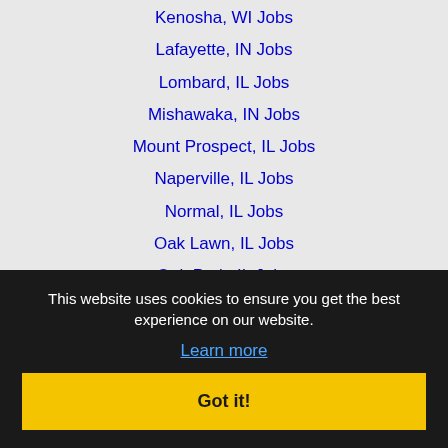Kenosha, WI Jobs
Lafayette, IN Jobs
Lombard, IL Jobs
Mishawaka, IN Jobs
Mount Prospect, IL Jobs
Naperville, IL Jobs
Normal, IL Jobs
Oak Lawn, IL Jobs
Oak Park, IL Jobs
Orland Park, IL Jobs
Palatine, IL Jobs
Rockford, IL Jobs
Schaumburg, IL Jobs
Skokie, IL Jobs
South Bend, IN Jobs
Tinley Park, IL Jobs
This website uses cookies to ensure you get the best experience on our website.
Learn more
Got it!